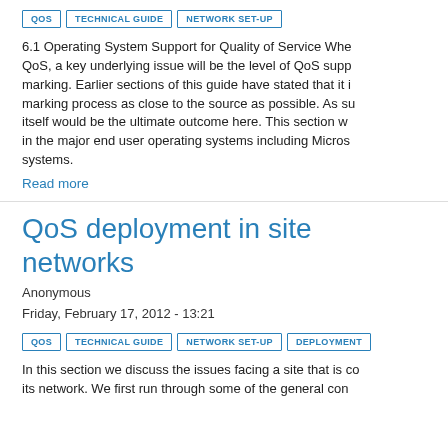QOS  TECHNICAL GUIDE  NETWORK SET-UP
6.1 Operating System Support for Quality of Service When QoS, a key underlying issue will be the level of QoS support marking. Earlier sections of this guide have stated that it is marking process as close to the source as possible. As such itself would be the ultimate outcome here. This section will in the major end user operating systems including Microsoft systems.
Read more
QoS deployment in site networks
Anonymous
Friday, February 17, 2012 - 13:21
QOS  TECHNICAL GUIDE  NETWORK SET-UP  DEPLOYMENT
In this section we discuss the issues facing a site that is consider its network. We first run through some of the general concepts